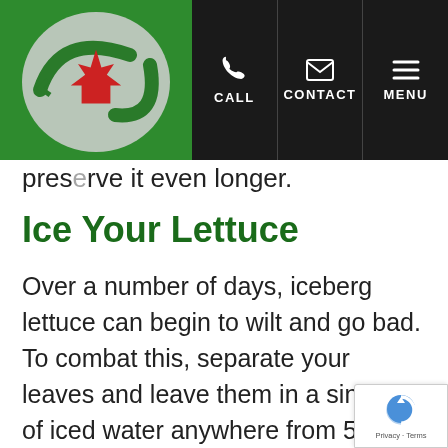[Figure (logo): Website header with Canadian company logo (maple leaf with circular arrows) on green background, and dark navigation bar with CALL, CONTACT, MENU icons]
preserve it even longer.
Ice Your Lettuce
Over a number of days, iceberg lettuce can begin to wilt and go bad. To combat this, separate your leaves and leave them in a sink full of iced water anywhere from 5-30 minutes, depending on how sad your leaves look. It's not always fun eating your gre… but wilted greens certainly doesn't ma…